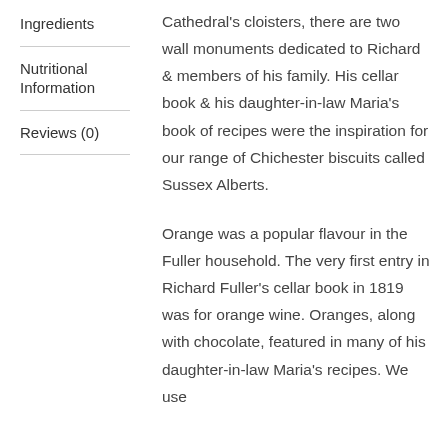Ingredients
Nutritional Information
Reviews (0)
Cathedral's cloisters, there are two wall monuments dedicated to Richard & members of his family. His cellar book & his daughter-in-law Maria's book of recipes were the inspiration for our range of Chichester biscuits called Sussex Alberts.
Orange was a popular flavour in the Fuller household. The very first entry in Richard Fuller's cellar book in 1819 was for orange wine. Oranges, along with chocolate, featured in many of his daughter-in-law Maria's recipes. We use